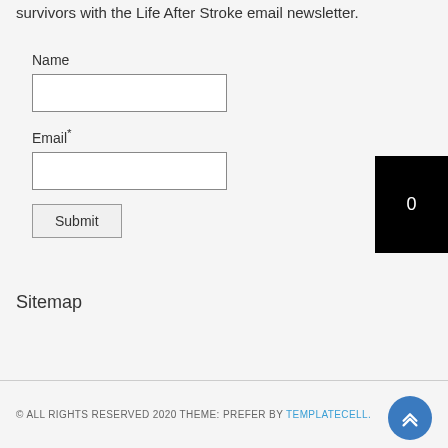survivors with the Life After Stroke email newsletter.
Name
Email*
Submit
[Figure (other): Black rectangle with white '0' numeral, partially visible at right edge]
Sitemap
© ALL RIGHTS RESERVED 2020 THEME: PREFER BY TEMPLATECELL.